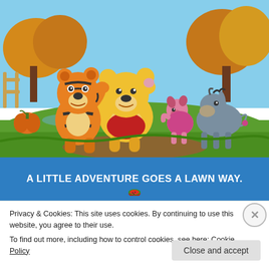[Figure (illustration): Cartoon illustration of Winnie the Pooh characters: Tigger, Winnie the Pooh, Piglet, and Eeyore standing together in a colorful autumn outdoor scene with pumpkins, trees, and grass.]
A LITTLE ADVENTURE GOES A LAWN WAY.
Privacy & Cookies: This site uses cookies. By continuing to use this website, you agree to their use.
To find out more, including how to control cookies, see here: Cookie Policy
Close and accept